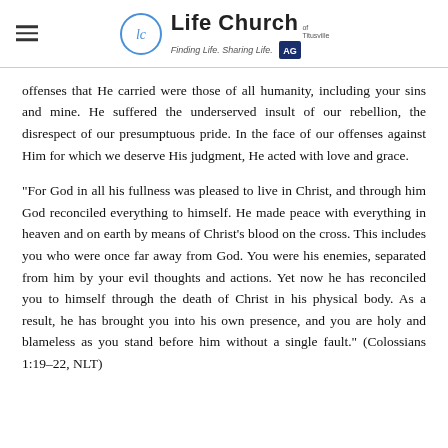Life Church of Titusville – Finding Life. Sharing Life. AG
offenses that He carried were those of all humanity, including your sins and mine. He suffered the underserved insult of our rebellion, the disrespect of our presumptuous pride. In the face of our offenses against Him for which we deserve His judgment, He acted with love and grace.
“For God in all his fullness was pleased to live in Christ, and through him God reconciled everything to himself. He made peace with everything in heaven and on earth by means of Christ’s blood on the cross. This includes you who were once far away from God. You were his enemies, separated from him by your evil thoughts and actions. Yet now he has reconciled you to himself through the death of Christ in his physical body. As a result, he has brought you into his own presence, and you are holy and blameless as you stand before him without a single fault.” (Colossians 1:19–22, NLT)